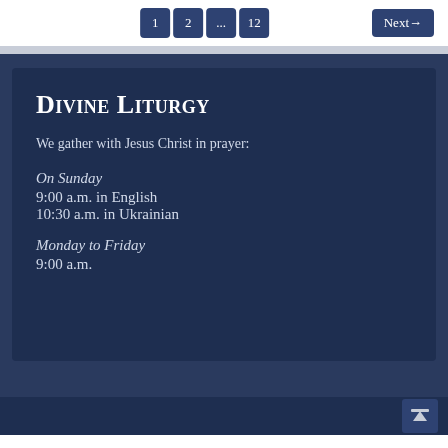1 2 ... 12  Next→
Divine Liturgy
We gather with Jesus Christ in prayer:
On Sunday
9:00 a.m. in English
10:30 a.m. in Ukrainian
Monday to Friday
9:00 a.m.